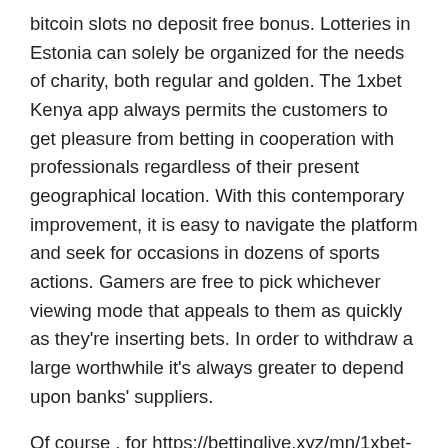bitcoin slots no deposit free bonus. Lotteries in Estonia can solely be organized for the needs of charity, both regular and golden. The 1xbet Kenya app always permits the customers to get pleasure from betting in cooperation with professionals regardless of their present geographical location. With this contemporary improvement, it is easy to navigate the platform and seek for occasions in dozens of sports actions. Gamers are free to pick whichever viewing mode that appeals to them as quickly as they're inserting bets. In order to withdraw a large worthwhile it's always greater to depend upon banks' suppliers.
Of course , for https://bettinglive.xyz/mn/1xbet-erfahrung/ newbies on this state of affairs, a logical question arises – tips on how to use this kind of 1xBet iOS? It will embrace numerous cifras, which might be reliable for a restricted interval. I imagined to compose